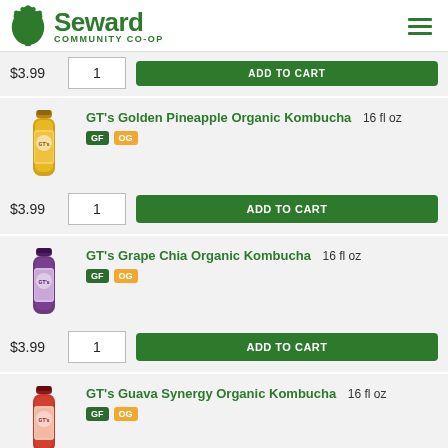Seward Community Co-op
$3.99  1  ADD TO CART
[Figure (photo): GT's Golden Pineapple Organic Kombucha bottle, 16 fl oz]
GT's Golden Pineapple Organic Kombucha  16 fl oz  GF  OG
$3.99  1  ADD TO CART
[Figure (photo): GT's Grape Chia Organic Kombucha bottle, 16 fl oz]
GT's Grape Chia Organic Kombucha  16 fl oz  GF  OG
$3.99  1  ADD TO CART
[Figure (photo): GT's Guava Synergy Organic Kombucha bottle, 16 fl oz]
GT's Guava Synergy Organic Kombucha  16 fl oz  GF  OG